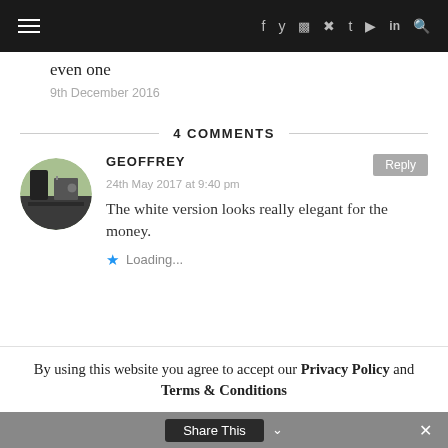Navigation bar with hamburger menu and social icons: f y (instagram) (pinterest) t (youtube) in (search)
even one
9th December 2016
4 COMMENTS
GEOFFREY
24th May 2017 at 9:40 pm
The white version looks really elegant for the money.
Loading...
By using this website you agree to accept our Privacy Policy and Terms & Conditions
Share This